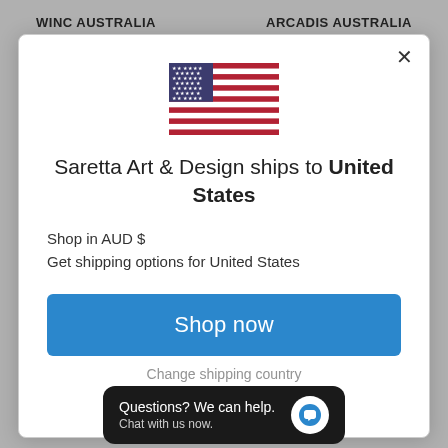WINC AUSTRALIA   ARCADIS AUSTRALIA
[Figure (illustration): USA flag emoji]
Saretta Art & Design ships to United States
Shop in AUD $
Get shipping options for United States
Shop now
Change shipping country
Questions? We can help. Chat with us now.